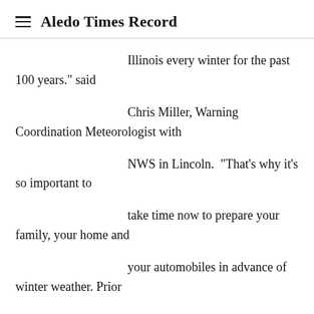Aledo Times Record
Illinois every winter for the past 100 years." said Chris Miller, Warning Coordination Meteorologist with NWS in Lincoln.  "That’s why it’s so important to take time now to prepare your family, your home and your automobiles in advance of winter weather. Prior to an anticipated storm, heed the